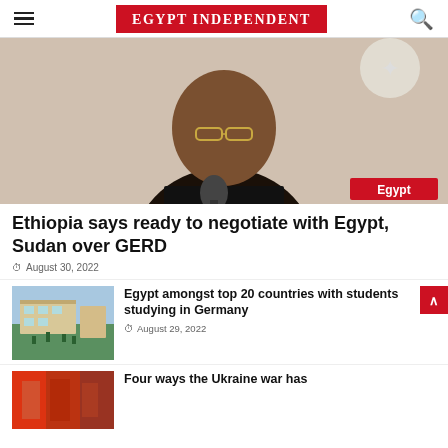EGYPT INDEPENDENT
[Figure (photo): A man in a dark suit speaking at a microphone, with a decorative white emblem in the background. An 'Egypt' badge appears at bottom right.]
Ethiopia says ready to negotiate with Egypt, Sudan over GERD
August 30, 2022
[Figure (photo): A European-style university or government building with lawn, trees and students walking outside, presumably in Germany.]
Egypt amongst top 20 countries with students studying in Germany
August 29, 2022
[Figure (photo): A photo related to the Ukraine war article.]
Four ways the Ukraine war has